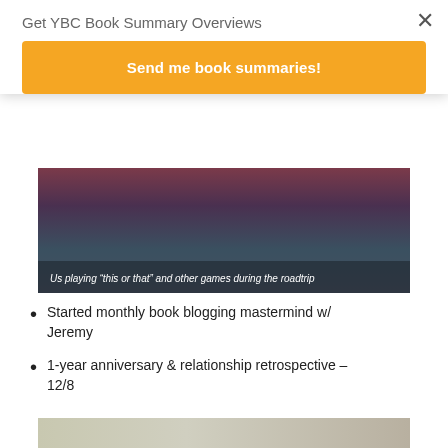Get YBC Book Summary Overviews
×
Send me book summaries!
[Figure (photo): Photo of a knitted/crocheted item (appears to be a small dark red/maroon decorative object) resting on a car dashboard. Caption reads: Us playing "this or that" and other games during the roadtrip]
Us playing “this or that” and other games during the roadtrip
Started monthly book blogging mastermind w/ Jeremy
1-year anniversary & relationship retrospective – 12/8
[Figure (photo): Partial photo visible at bottom of page, appears to show a surface with water droplets or dew]